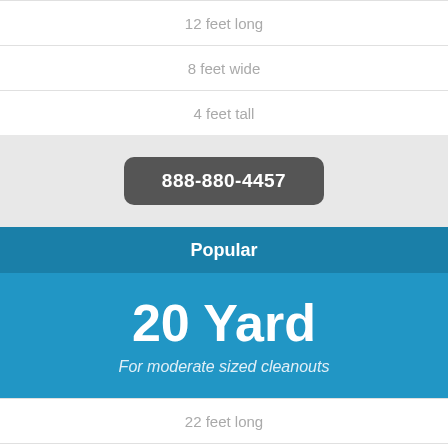12 feet long
8 feet wide
4 feet tall
888-880-4457
Popular
20 Yard
For moderate sized cleanouts
22 feet long
8 feet wide
4.5 feet tall